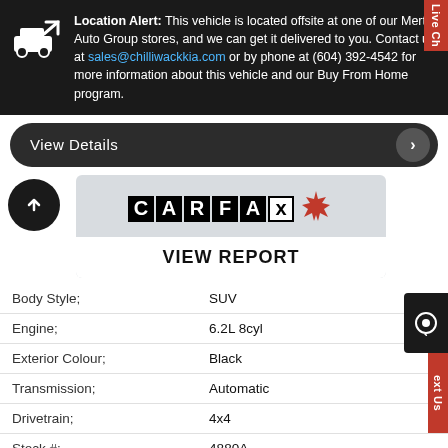Location Alert: This vehicle is located offsite at one of our Mertin Auto Group stores, and we can get it delivered to you. Contact us at sales@chilliwackkia.com or by phone at (604) 392-4542 for more information about this vehicle and our Buy From Home program.
View Details >
[Figure (logo): CARFAX Canada logo with maple leaf and VIEW REPORT button below]
| Field | Value |
| --- | --- |
| Body Style: | SUV |
| Engine: | 6.2L 8cyl |
| Exterior Colour: | Black |
| Transmission: | Automatic |
| Drivetrain: | 4x4 |
| Stock #: | 4880A |
| City: | Dawson Creek |